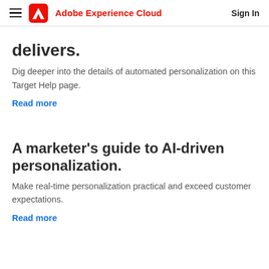Adobe Experience Cloud  Sign In
delivers.
Dig deeper into the details of automated personalization on this Target Help page.
Read more
A marketer's guide to AI-driven personalization.
Make real-time personalization practical and exceed customer expectations.
Read more